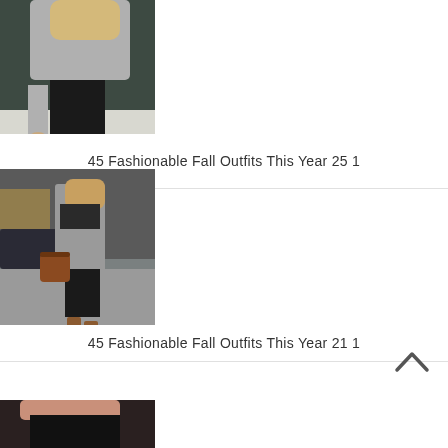[Figure (photo): Woman sitting on steps wearing grey sweater, black skinny jeans, and black platform boots]
45 Fashionable Fall Outfits This Year 25 1
[Figure (photo): Woman walking on city street wearing grey long coat, striped top, black pants, carrying brown leather bag]
45 Fashionable Fall Outfits This Year 21 1
[Figure (photo): Partial photo showing dark clothing, cropped at bottom of page]